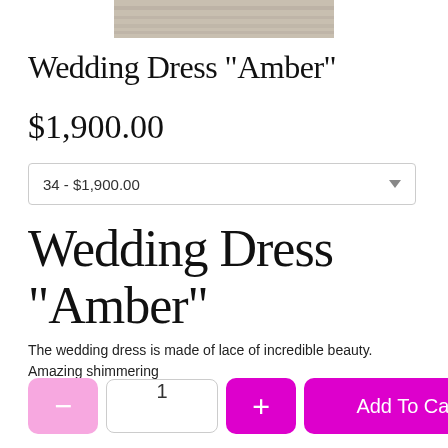[Figure (photo): Partial product image of a wedding dress shown at top of page]
Wedding Dress "Amber"
$1,900.00
34 - $1,900.00
Wedding Dress "Amber"
The wedding dress is made of lace of incredible beauty. Amazing shimmering
... More
Add To Cart